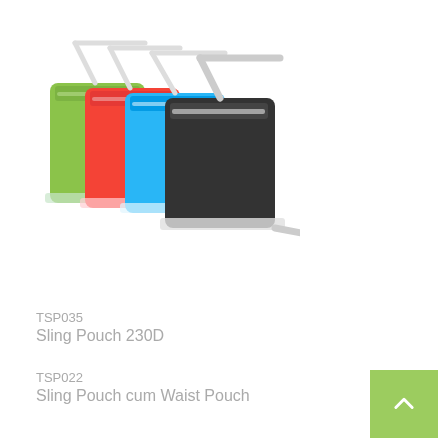[Figure (photo): Product photo showing four sling pouches in green, orange, blue, and black colors with shoulder straps, arranged in a cascading display]
TSP035
Sling Pouch 230D
TSP022
Sling Pouch cum Waist Pouch
TSP038
Sports Tube Bag